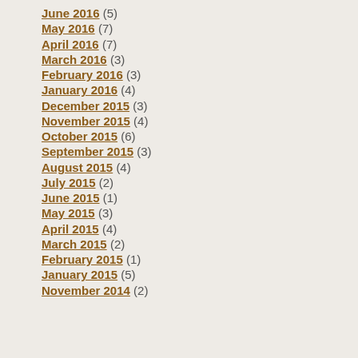June 2016 (5)
May 2016 (7)
April 2016 (7)
March 2016 (3)
February 2016 (3)
January 2016 (4)
December 2015 (3)
November 2015 (4)
October 2015 (6)
September 2015 (3)
August 2015 (4)
July 2015 (2)
June 2015 (1)
May 2015 (3)
April 2015 (4)
March 2015 (2)
February 2015 (1)
January 2015 (5)
November 2014 (2)